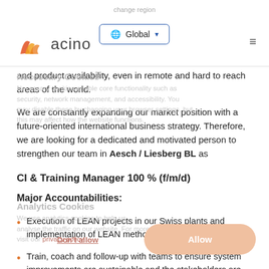change region | acino | Global
and product availability, even in remote and hard to reach areas of the world.
We are constantly expanding our market position with a future-oriented international business strategy. Therefore, we are looking for a dedicated and motivated person to strengthen our team in Aesch / Liesberg BL as
CI & Training Manager 100 % (f/m/d)
Major Accountabilities:
Execution of LEAN projects in our Swiss plants and implementation of LEAN methods
Train, coach and follow-up with teams to ensure system improvements are sustainable and the stakeholders are